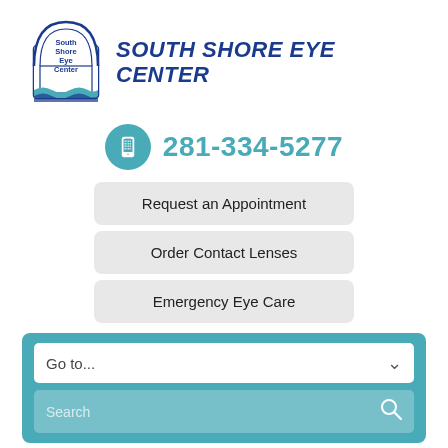[Figure (logo): South Shore Eye Center logo - tombstone shaped with waves at bottom and text]
SOUTH SHORE EYE CENTER
281-334-5277
Request an Appointment
Order Contact Lenses
Emergency Eye Care
Go to...
Search
[Figure (photo): Interior photo of South Shore Eye Center waiting room with framed pictures on the wall and seating]